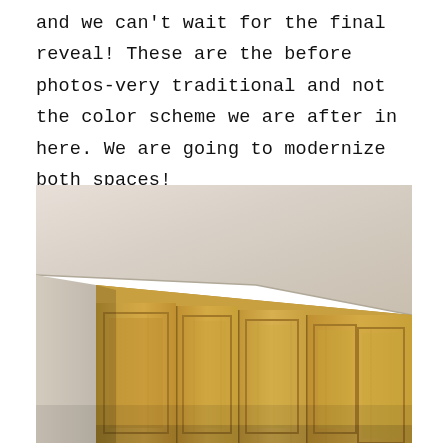and we can't wait for the final reveal! These are the before photos-very traditional and not the color scheme we are after in here. We are going to modernize both spaces!
[Figure (photo): Before photo of traditional light wood kitchen upper cabinets with raised panel doors and crown molding, viewed from a corner angle showing the ceiling junction.]